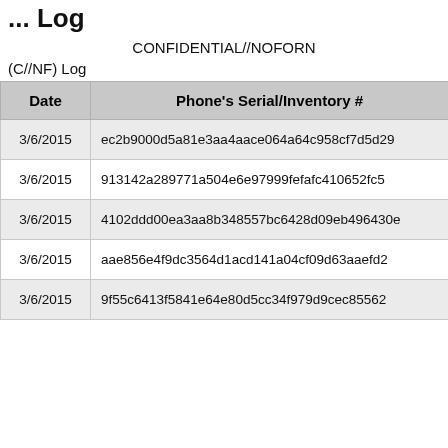... Log
CONFIDENTIAL//NOFORN
(C//NF) Log
| Date | Phone's Serial/Inventory # |
| --- | --- |
| 3/6/2015 | ec2b9000d5a81e3aa4aace064a64c958cf7d5d29 |
| 3/6/2015 | 913142a289771a504e6e97999fefafc410652fc5 |
| 3/6/2015 | 4102ddd00ea3aa8b348557bc6428d09eb496430e |
| 3/6/2015 | aae856e4f9dc3564d1acd141a04cf09d63aaefd2 |
| 3/6/2015 | 9f55c6413f5841e64e80d5cc34f979d9cec85562 |